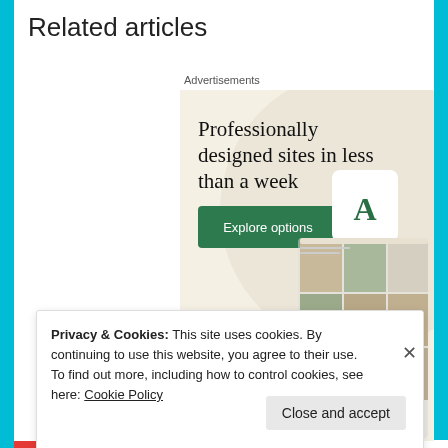Related articles
Advertisements
[Figure (infographic): Advertisement banner with beige background showing text 'Professionally designed sites in less than a week', a green 'Explore options' button, and website mockup screenshots with food images. WordPress logo at bottom.]
Privacy & Cookies: This site uses cookies. By continuing to use this website, you agree to their use.
To find out more, including how to control cookies, see here: Cookie Policy
Close and accept